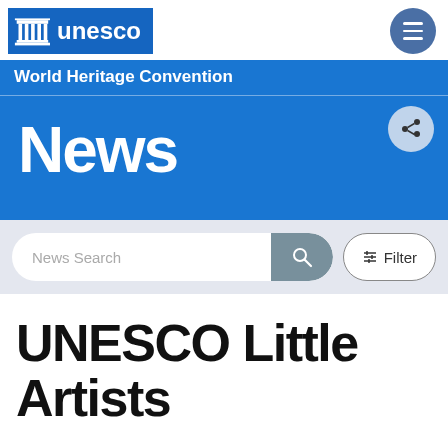UNESCO World Heritage Convention
News
News Search   Filter
UNESCO Little Artists